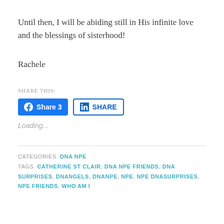Until then, I will be abiding still in His infinite love and the blessings of sisterhood!
Rachele
SHARE THIS:
[Figure (screenshot): Two social share buttons: Facebook 'Share 3' button in blue, and LinkedIn 'SHARE' button with blue border]
Loading...
CATEGORIES  DNA NPE
TAGS  CATHERINE ST CLAIR, DNA NPE FRIENDS, DNA SURPRISES, DNANGELS, DNANPE, NPE, NPE DNASURPRISES, NPE FRIENDS, WHO AM I